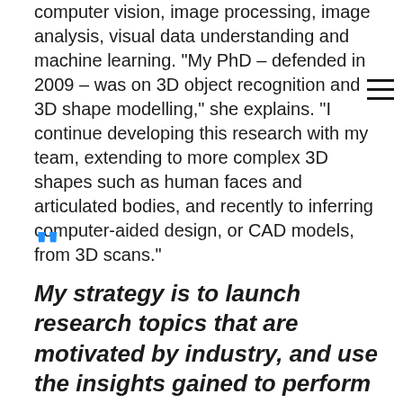computer vision, image processing, image analysis, visual data understanding and machine learning. "My PhD – defended in 2009 – was on 3D object recognition and 3D shape modelling," she explains. "I continue developing this research with my team, extending to more complex 3D shapes such as human faces and articulated bodies, and recently to inferring computer-aided design, or CAD models, from 3D scans."
[Figure (other): Large blue opening quotation mark decorative element]
My strategy is to launch research topics that are motivated by industry, and use the insights gained to perform more fundamental research.